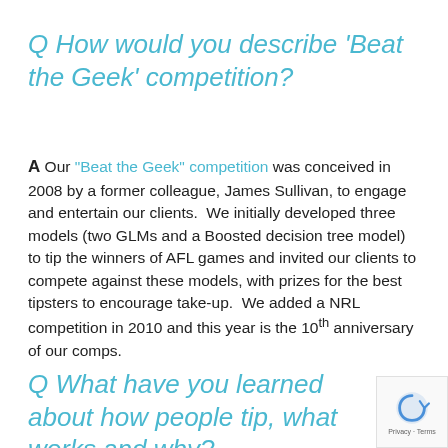Q How would you describe 'Beat the Geek' competition?
A Our "Beat the Geek" competition was conceived in 2008 by a former colleague, James Sullivan, to engage and entertain our clients.  We initially developed three models (two GLMs and a Boosted decision tree model) to tip the winners of AFL games and invited our clients to compete against these models, with prizes for the best tipsters to encourage take-up.  We added a NRL competition in 2010 and this year is the 10th anniversary of our comps.
Q What have you learned about how people tip, what works and why?